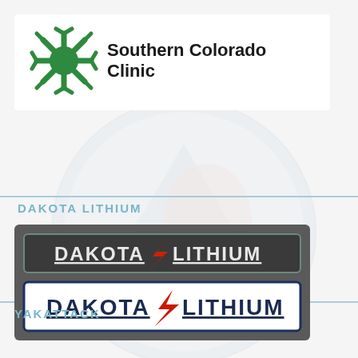[Figure (logo): Southern Colorado Clinic logo: green virus/snowflake-like icon with spikes, next to bold text 'Southern Colorado Clinic']
[Figure (logo): Dakota Lithium logo section: heading 'DAKOTA LITHIUM' in light blue, with two logo variants in a dark grey box — one dark background version and one white background version, both reading 'DAKOTA LITHIUM' with a red lightning bolt]
YAKATTACK